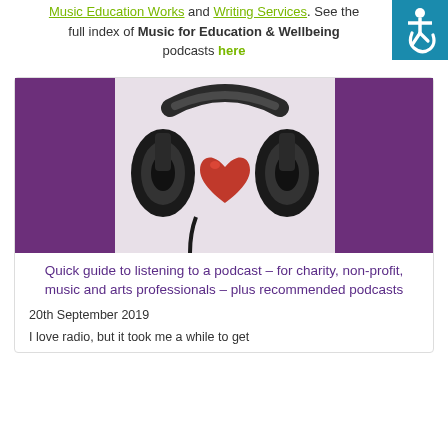Music Education Works and Writing Services. See full index of Music for Education & Wellbeing podcasts here
[Figure (photo): Headphones with a red heart sitting between the ear cups, on a purple background — podcast illustration image]
Quick guide to listening to a podcast – for charity, non-profit, music and arts professionals – plus recommended podcasts
20th September 2019
I love radio, but it took me a while to get